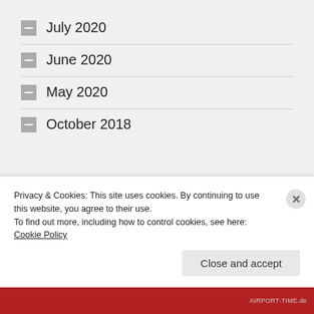July 2020
June 2020
May 2020
October 2018
RECENT COMMENTS
Privacy & Cookies: This site uses cookies. By continuing to use this website, you agree to their use.
To find out more, including how to control cookies, see here: Cookie Policy
Close and accept
AIRPORT-TIME.de